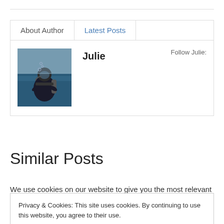About Author | Latest Posts
[Figure (photo): Author photo of Julie, a person in scuba diving gear in water]
Julie
Follow Julie:
Similar Posts
We use cookies on our website to give you the most relevant
Privacy & Cookies: This site uses cookies. By continuing to use this website, you agree to their use.
To find out more, including how to control cookies, see here: Cookie Policy
Close and accept